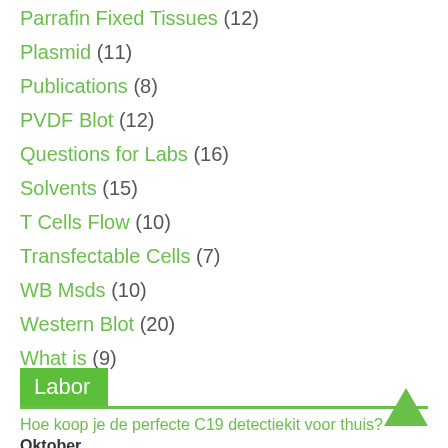Parrafin Fixed Tissues (12)
Plasmid (11)
Publications (8)
PVDF Blot (12)
Questions for Labs (16)
Solvents (15)
T Cells Flow (10)
Transfectable Cells (7)
WB Msds (10)
Western Blot (20)
What is (9)
Labor
Hoe koop je de perfecte C19 detectiekit voor thuis? Oktober